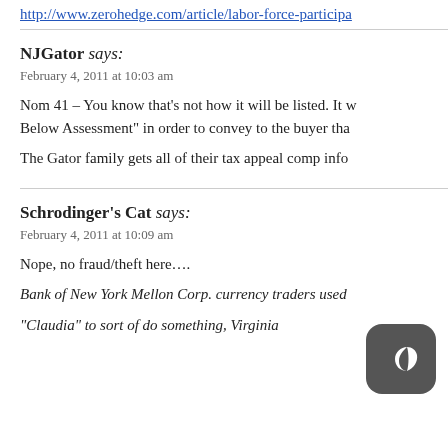http://www.zerohedge.com/article/labor-force-participa
NJGator says:
February 4, 2011 at 10:03 am
Nom 41 – You know that's not how it will be listed. It w Below Assessment" in order to convey to the buyer tha
The Gator family gets all of their tax appeal comp info
Schrodinger's Cat says:
February 4, 2011 at 10:09 am
Nope, no fraud/theft here….
Bank of New York Mellon Corp. currency traders used "Claudia" to sort of do something, Virginia